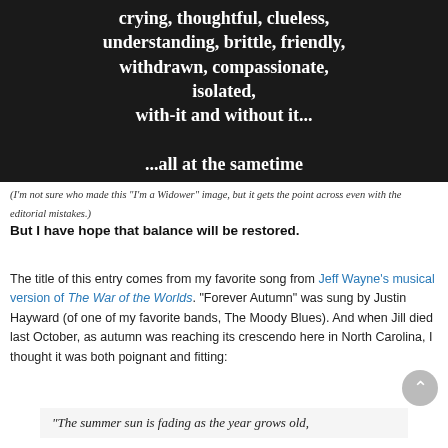[Figure (photo): Dark background image with white bold text showing words describing emotional states: 'crying, thoughtful, clueless, understanding, brittle, friendly, withdrawn, compassionate, isolated, with-it and without it... ...all at the sametime']
(I'm not sure who made this "I'm a Widower" image, but it gets the point across even with the editorial mistakes.)
But I have hope that balance will be restored.
The title of this entry comes from my favorite song from Jeff Wayne's musical version of The War of the Worlds. "Forever Autumn" was sung by Justin Hayward (of one of my favorite bands, The Moody Blues). And when Jill died last October, as autumn was reaching its crescendo here in North Carolina, I thought it was both poignant and fitting:
“The summer sun is fading as the year grows old,